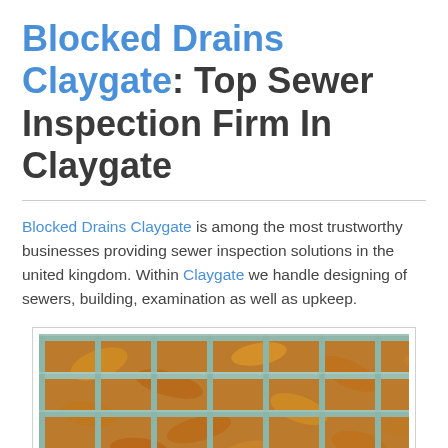Blocked Drains Claygate: Top Sewer Inspection Firm In Claygate
Blocked Drains Claygate is among the most trustworthy businesses providing sewer inspection solutions in the united kingdom. Within Claygate we handle designing of sewers, building, examination as well as upkeep.
[Figure (photo): Close-up photo of dead leaves and debris caught in a metal drain grate with a teal/blue-green painted grid, with a dark grey block visible in the bottom right corner.]